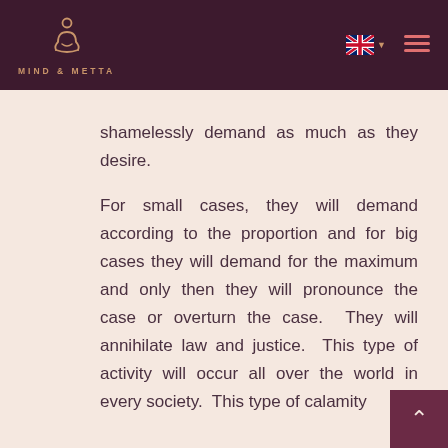MIND & METTA
shamelessly demand as much as they desire.

For small cases, they will demand according to the proportion and for big cases they will demand for the maximum and only then they will pronounce the case or overturn the case.  They will annihilate law and justice.  This type of activity will occur all over the world in every society.  This type of calamity